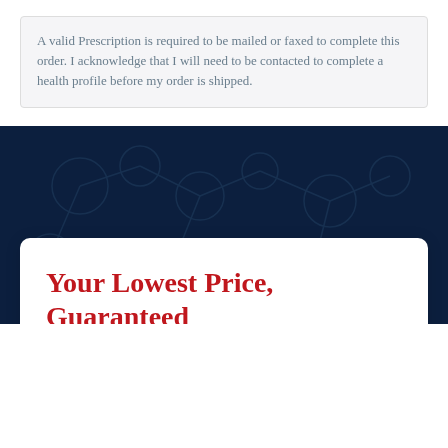A valid Prescription is required to be mailed or faxed to complete this order. I acknowledge that I will need to be contacted to complete a health profile before my order is shipped.
Your Lowest Price, Guaranteed
Our goal is to bring you the most affordable medication. If you find a lower price advertised by another website or your local pharmacy, we'll match that price or beat it by